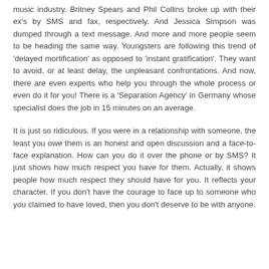music industry. Britney Spears and Phil Collins broke up with their ex's by SMS and fax, respectively. And Jessica Simpson was dumped through a text message. And more and more people seem to be heading the same way. Youngsters are following this trend of 'delayed mortification' as opposed to 'instant gratification'. They want to avoid, or at least delay, the unpleasant confrontations. And now, there are even experts who help you through the whole process or even do it for you! There is a 'Separation Agency' in Germany whose specialist does the job in 15 minutes on an average.
It is just so ridiculous. If you were in a relationship with someone, the least you owe them is an honest and open discussion and a face-to-face explanation. How can you do it over the phone or by SMS? It just shows how much respect you have for them. Actually, it shows people how much respect they should have for you. It reflects your character. If you don't have the courage to face up to someone who you claimed to have loved, then you don't deserve to be with anyone.